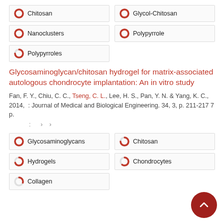[Figure (other): Keyword badge: 100% donut circle with label Chitosan]
[Figure (other): Keyword badge: 100% donut circle with label Glycol-Chitosan]
[Figure (other): Keyword badge: 100% donut circle with label Nanoclusters]
[Figure (other): Keyword badge: 100% donut circle with label Polypyrrole]
[Figure (other): Keyword badge: ~75% donut circle with label Polypyrroles]
Glycosaminoglycan/chitosan hydrogel for matrix-associated autologous chondrocyte implantation: An in vitro study
Fan, F. Y., Chiu, C. C., Tseng, C. L., Lee, H. S., Pan, Y. N. & Yang, K. C., 2014, : Journal of Medical and Biological Engineering. 34, 3, p. 211-217 7 p.
: › ›
[Figure (other): Keyword badge: 100% donut circle with label Glycosaminoglycans]
[Figure (other): Keyword badge: ~75% donut circle with label Chitosan]
[Figure (other): Keyword badge: ~70% donut circle with label Hydrogels]
[Figure (other): Keyword badge: ~60% donut circle with label Chondrocytes]
[Figure (other): Keyword badge: ~30% donut circle with label Collagen]